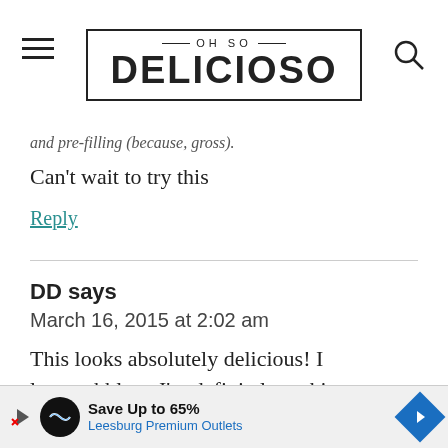OH SO DELICIOSO
and pre-filling (because, gross).
Can't wait to try this
Reply
DD says
March 16, 2015 at 2:02 am
This looks absolutely delicious! I love cobblers, I'm definitely making
Save Up to 65% Leesburg Premium Outlets